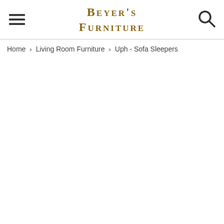Beyer's Furniture
Home > Living Room Furniture > Uph - Sofa Sleepers